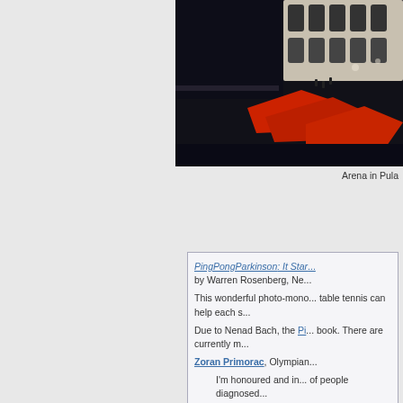[Figure (photo): Aerial photo of ancient Roman arena in Pula, Croatia, showing arched stone structure with colorful market stalls or fabric visible from above. Predominantly dark with bright red and white accents.]
Arena in Pula
PingPongParkinson: It Star... by Warren Rosenberg, Ne...

This wonderful photo-mono... table tennis can help each s...

Due to Nenad Bach, the Pi... book. There are currently m...

Zoran Primorac, Olympian...

  I'm honoured and in... of people diagnosed...

An edition of this book is pl...